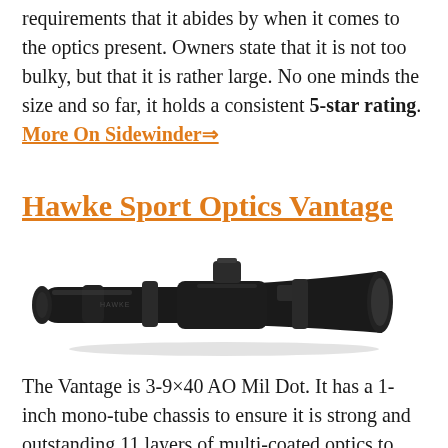requirements that it abides by when it comes to the optics present. Owners state that it is not too bulky, but that it is rather large. No one minds the size and so far, it holds a consistent 5-star rating. More On Sidewinder⇒
Hawke Sport Optics Vantage
[Figure (photo): A black rifle scope (Hawke Sport Optics Vantage) shown horizontally against a light background with a subtle shadow beneath it.]
The Vantage is 3-9×40 AO Mil Dot. It has a 1-inch mono-tube chassis to ensure it is strong and outstanding 11 layers of multi-coated optics to ensure excellent clarity of